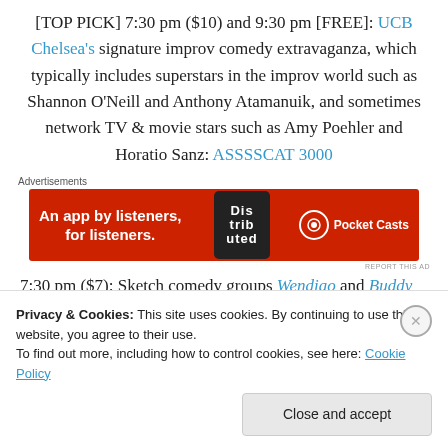[TOP PICK] 7:30 pm ($10) and 9:30 pm [FREE]: UCB Chelsea's signature improv comedy extravaganza, which typically includes superstars in the improv world such as Shannon O'Neill and Anthony Atamanuik, and sometimes network TV & movie stars such as Amy Poehler and Horatio Sanz: ASSSSCAT 3000
[Figure (screenshot): Pocket Casts advertisement banner on red background with phone image. Text: An app by listeners, for listeners.]
7:30 pm ($7): Sketch comedy groups Wendigo and Buddy
Privacy & Cookies: This site uses cookies. By continuing to use this website, you agree to their use. To find out more, including how to control cookies, see here: Cookie Policy
Close and accept